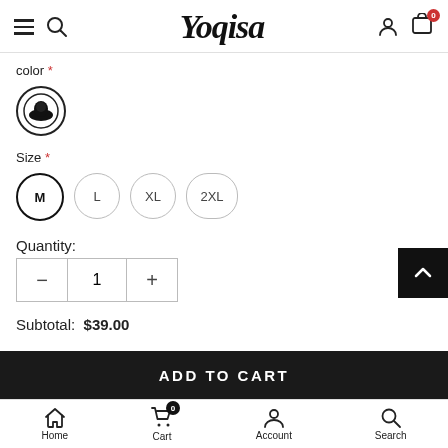Yoqisa
color *
[Figure (illustration): Black circular color swatch icon showing a dark item (hat/jacket) inside a circle]
Size *
M   L   XL   2XL
Quantity:
- 1 +
Subtotal:  $39.00
ADD TO CART
Home   Cart   Account   Search